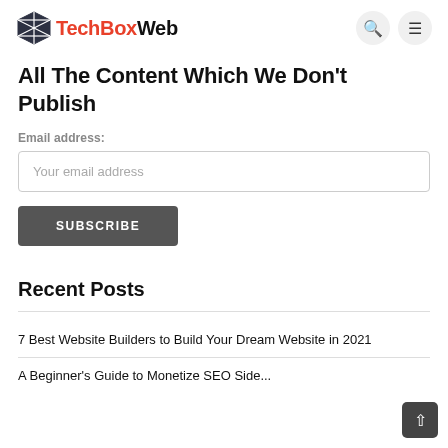TechBoxWeb
All The Content Which We Don't Publish
Email address:
Your email address
SUBSCRIBE
Recent Posts
7 Best Website Builders to Build Your Dream Website in 2021
A Beginner's Guide to Monetize SEO Side...